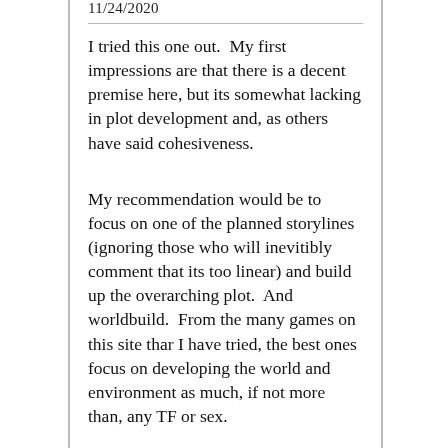11/24/2020
I tried this one out.  My first impressions are that there is a decent premise here, but its somewhat lacking in plot development and, as others have said cohesiveness.
My recommendation would be to focus on one of the planned storylines (ignoring those who will inevitibly comment that its too linear) and build up the overarching plot.  And worldbuild.  From the many games on this site thar I have tried, the best ones focus on developing the world and environment as much, if not more than, any TF or sex.
It could also do with some additional formatting.  The